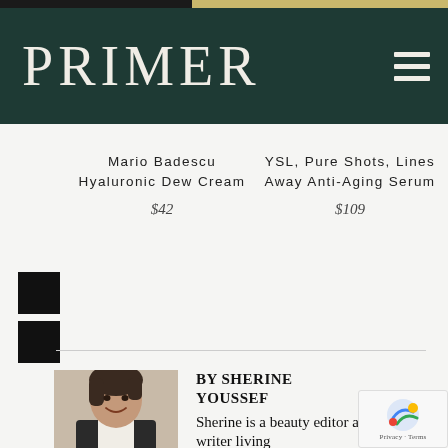PRIMER
Mario Badescu Hyaluronic Dew Cream
$42
YSL, Pure Shots, Lines Away Anti-Aging Serum
$109
[Figure (photo): Headshot of Sherine Youssef, a dark-haired woman smiling, wearing a blazer]
BY SHERINE YOUSSEF
Sherine is a beauty editor and writer living